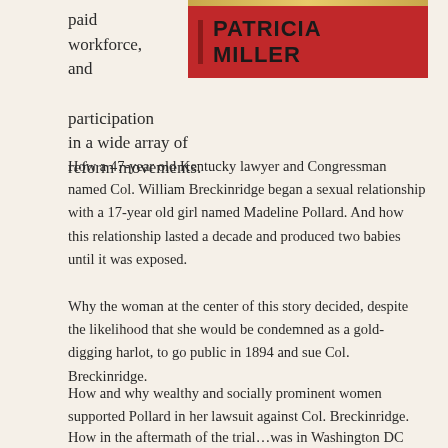paid workforce, and participation in a wide array of reform movements.
[Figure (other): Author name banner: gold top bar above red background box with dark vertical bar on left and bold uppercase text 'PATRICIA MILLER']
How a 47-year old Kentucky lawyer and Congressman named Col. William Breckinridge began a sexual relationship with a 17-year old girl named Madeline Pollard. And how this relationship lasted a decade and produced two babies until it was exposed.
Why the woman at the center of this story decided, despite the likelihood that she would be condemned as a gold-digging harlot, to go public in 1894 and sue Col. Breckinridge.
How and why wealthy and socially prominent women supported Pollard in her lawsuit against Col. Breckinridge.
How in the aftermath of the trial…was in Washington DC